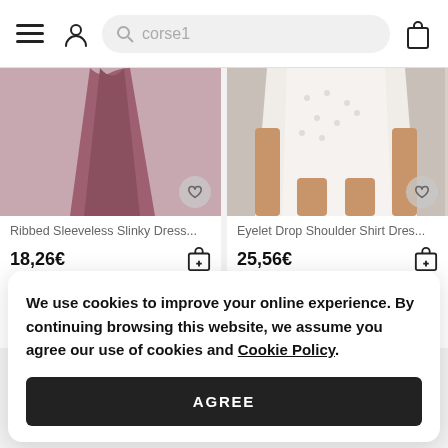[Figure (screenshot): Navigation bar with hamburger menu, user icon, search bar showing 'corse1', and shopping bag icon]
[Figure (photo): Product image of Ribbed Sleeveless Slinky Dress in dark rose/mauve color, partially visible]
Ribbed Sleeveless Slinky Dress...
18,26€
[Figure (photo): Product image of Eyelet Drop Shoulder Shirt Dress in white, model wearing it, partially visible]
Eyelet Drop Shoulder Shirt Dres...
25,56€
We use cookies to improve your online experience. By continuing browsing this website, we assume you agree our use of cookies and Cookie Policy.
AGREE